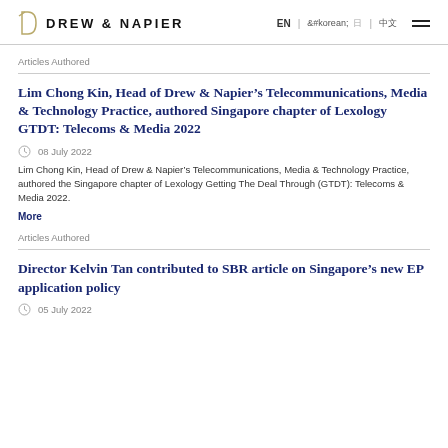DREW & NAPIER
Articles Authored
Lim Chong Kin, Head of Drew & Napier’s Telecommunications, Media & Technology Practice, authored Singapore chapter of Lexology GTDT: Telecoms & Media 2022
08 July 2022
Lim Chong Kin, Head of Drew & Napier’s Telecommunications, Media & Technology Practice, authored the Singapore chapter of Lexology Getting The Deal Through (GTDT): Telecoms & Media 2022.
More
Articles Authored
Director Kelvin Tan contributed to SBR article on Singapore’s new EP application policy
05 July 2022